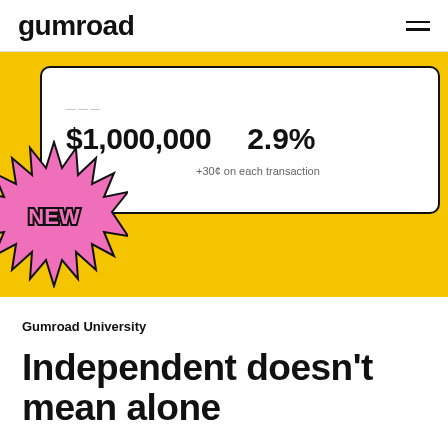Gumroad
[Figure (screenshot): Screenshot of Gumroad pricing UI showing a white card on yellow background with $1,000,000 and 2.9% fee, plus a pink starburst badge with 'NEW' text]
Gumroad University
Independent doesn't mean alone